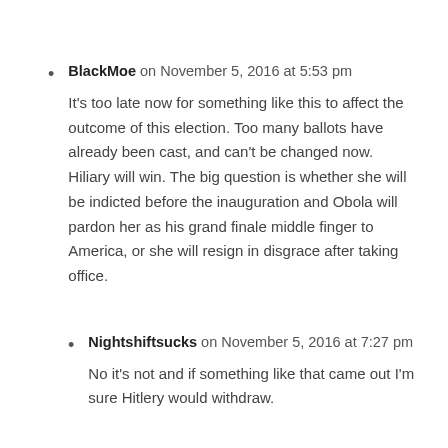BlackMoe on November 5, 2016 at 5:53 pm
It's too late now for something like this to affect the outcome of this election. Too many ballots have already been cast, and can't be changed now. Hiliary will win. The big question is whether she will be indicted before the inauguration and Obola will pardon her as his grand finale middle finger to America, or she will resign in disgrace after taking office.
Nightshiftsucks on November 5, 2016 at 7:27 pm
No it's not and if something like that came out I'm sure Hitlery would withdraw.